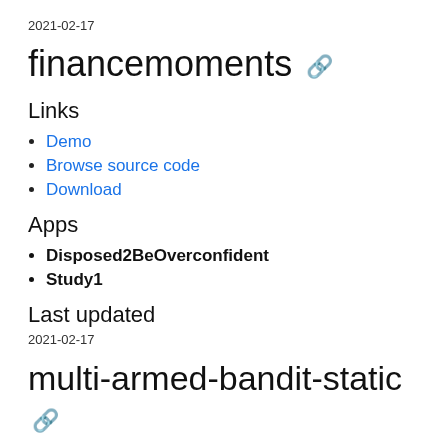2021-02-17
financemoments 🔗
Links
Demo
Browse source code
Download
Apps
Disposed2BeOverconfident
Study1
Last updated
2021-02-17
multi-armed-bandit-static 🔗